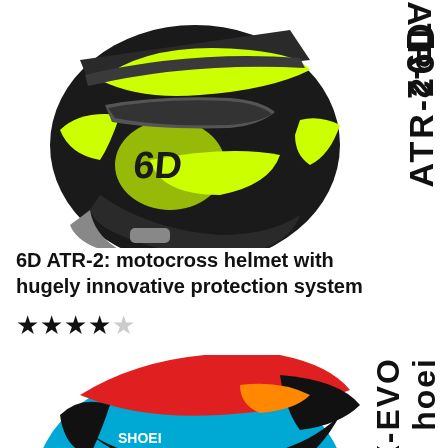[Figure (photo): 6D ATR-2 motocross helmet in black and neon yellow/green colorway, side profile view, with '6D ATR-2' text label rotated vertically on the right side]
6D ATR-2: motocross helmet with hugely innovative protection system
★★★★☆
[Figure (photo): Shoei X-EVO motocross helmet in blue, red, and black colorway, side profile view (partially visible), with 'Shoei X-EVO' text label rotated vertically on the right side]